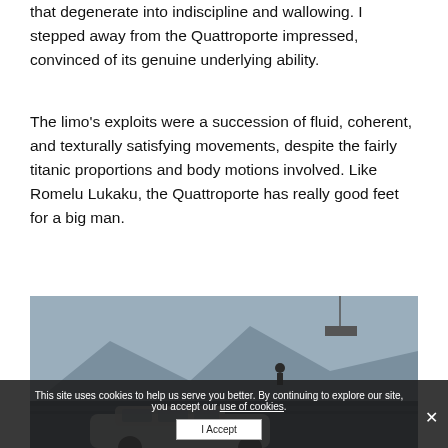that degenerate into indiscipline and wallowing. I stepped away from the Quattroporte impressed, convinced of its genuine underlying ability.
The limo's exploits were a succession of fluid, coherent, and texturally satisfying movements, despite the fairly titanic proportions and body motions involved. Like Romelu Lukaku, the Quattroporte has really good feet for a big man.
[Figure (photo): Outdoor photo showing a car (appears to be a Maserati Quattroporte) on what looks like a ferry or dock, with mountains and sky in the background, and a figure visible on an upper deck.]
This site uses cookies to help us serve you better. By continuing to explore our site, you accept our use of cookies.